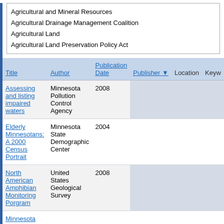Agricultural and Mineral Resources
Agricultural Drainage Management Coalition
Agricultural Land
Agricultural Land Preservation Policy Act
| Title | Author | Publication Date | Publisher | Location | Keyw |
| --- | --- | --- | --- | --- | --- |
| Assessing and listing impaired waters | Minnesota Pollution Control Agency | 2008 |  |  |  |
| Elderly Minnesotans: A 2000 Census Portrait | Minnesota State Demographic Center | 2004 |  |  |  |
| North American Amphibian Monitoring Porgram | United States Geological Survey | 2008 |  |  |  |
| Minnesota Drinking |  |  |  |  |  |